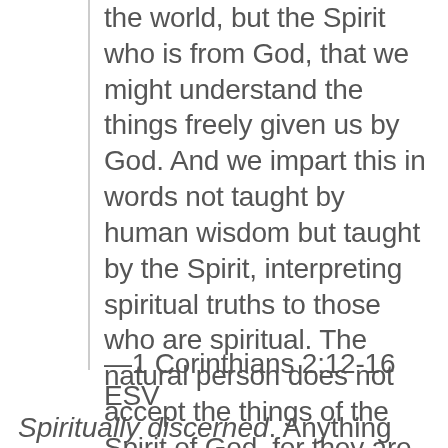the world, but the Spirit who is from God, that we might understand the things freely given us by God. And we impart this in words not taught by human wisdom but taught by the Spirit, interpreting spiritual truths to those who are spiritual. The natural person does not accept the things of the Spirit of God, for they are folly to him, and he is not able to understand them because they are spiritually discerned. The spiritual person judges all things, but is himself to be judged by no one. “For who has understood the mind of the Lord so as to instruct him?” But we have the mind of Christ.
—1 Corinthians 2:12-16 ESV
Spiritually discerned. Anything lasting,